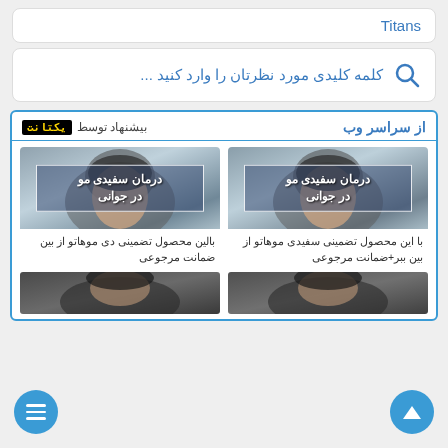Titans
کلمه کلیدی مورد نظرتان را وارد کنید ...
از سراسر وب
بیشنهاد توسط یکتانت
[Figure (photo): Photo of person with gray hair - درمان سفیدی مو در جوانی]
[Figure (photo): Photo of person with gray hair - درمان سفیدی مو در جوانی]
با این محصول تضمینی سفیدی موهاتو از بین ببر+ضمانت مرجوعی
بالین محصول تضمینی دی موهاتو از بین ضمانت مرجوعی
[Figure (photo): Dark hair photo bottom left]
[Figure (photo): Dark hair photo bottom right]